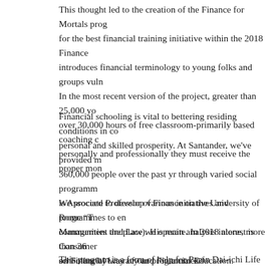This thought led to the creation of the Finance for Mortals prog for the best financial training initiative within the 2018 Finance introduces financial terminology to young folks and groups vuln In the most recent version of the project, greater than 25,000 yo over 30,000 hours of free classroom-primarily based coaching c personally and professionally they must receive the proper mon
Financial schooling is vital to bettering residing conditions in co personal and skilled prosperity. At Santander, we've provided m 360,000 people over the past yr through varied social programm is Associate Professor of Finance on the University of Rome "T Management and Law). His main analysis interest is Consumer on Financial Literacy and Financial Education.
We proceed to develop various initiatives and programmes to en communities the place we operate. In 2018 alone, more than 36 schooling by way of our programmes.
This program is a form of help for Panin Dai-ichi Life on the Fi